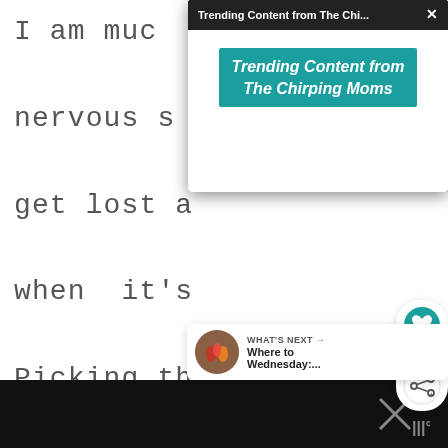I am muc nervous s get lost a when it's Picking the right time to visit Hershey Park is definitely important with toddlers and young children.
[Figure (screenshot): Popup overlay showing 'Trending Content from The Chi...' in dark title bar with close X button, and teal banner reading 'Trending Content from The Chirping Moms' in white bold italic text on teal background]
[Figure (infographic): Sidebar icons: heart/like icon, number 2, share icon]
[Figure (infographic): What's Next bar with thumbnail photo and text 'WHAT'S NEXT -> Where to Wednesday:...']
[Figure (screenshot): Black bottom bar with X close icon and app icon watermark]